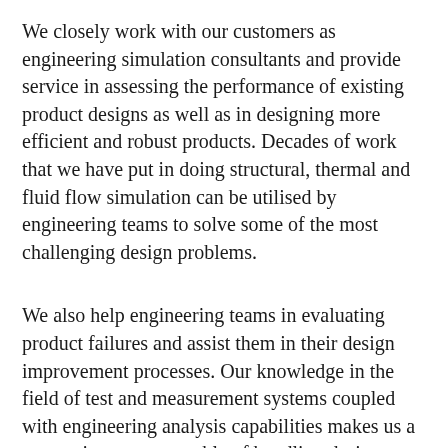We closely work with our customers as engineering simulation consultants and provide service in assessing the performance of existing product designs as well as in designing more efficient and robust products. Decades of work that we have put in doing structural, thermal and fluid flow simulation can be utilised by engineering teams to solve some of the most challenging design problems.
We also help engineering teams in evaluating product failures and assist them in their design improvement processes. Our knowledge in the field of test and measurement systems coupled with engineering analysis capabilities makes us a very unique team capable of handling design challenges that involve consideration of the effect of mutiple field types. Connect with us to seek our support in your product design and analysis requirements. We have helped our customers in doing engineering simulation and design improvement in diverse application areas that cover automotive tires, transmission